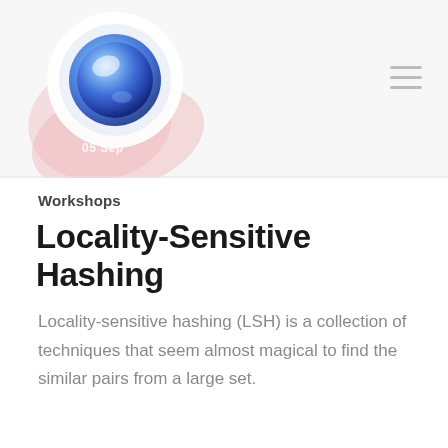[Figure (logo): Circular logo with blue and purple gradient sphere on a light grey header background, with a pink abstract blob shape behind it and a date label '05 Sep' inside the blob. A hamburger menu icon appears in the top right.]
Workshops
Locality-Sensitive Hashing
Locality-sensitive hashing (LSH) is a collection of techniques that seem almost magical to find the similar pairs from a large set.